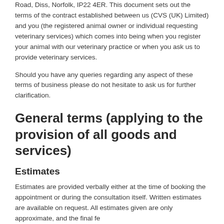Road, Diss, Norfolk, IP22 4ER. This document sets out the terms of the contract established between us (CVS (UK) Limited) and you (the registered animal owner or individual requesting veterinary services) which comes into being when you register your animal with our veterinary practice or when you ask us to provide veterinary services.
Should you have any queries regarding any aspect of these terms of business please do not hesitate to ask us for further clarification.
General terms (applying to the provision of all goods and services)
Estimates
Estimates are provided verbally either at the time of booking the appointment or during the consultation itself. Written estimates are available on request. All estimates given are only approximate, and the final fe...